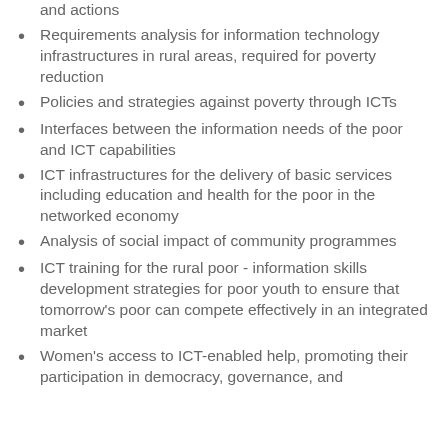and actions
Requirements analysis for information technology infrastructures in rural areas, required for poverty reduction
Policies and strategies against poverty through ICTs
Interfaces between the information needs of the poor and ICT capabilities
ICT infrastructures for the delivery of basic services including education and health for the poor in the networked economy
Analysis of social impact of community programmes
ICT training for the rural poor - information skills development strategies for poor youth to ensure that tomorrow's poor can compete effectively in an integrated market
Women's access to ICT-enabled help, promoting their participation in democracy, governance, and [continues]